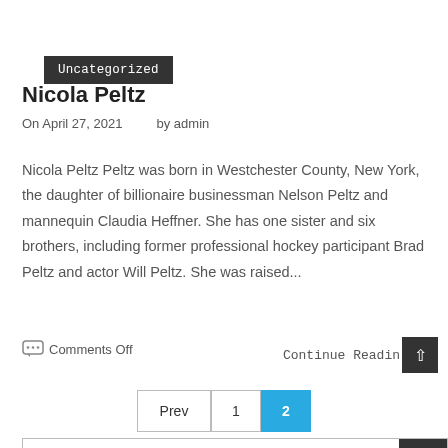Uncategorized
Nicola Peltz
On April 27, 2021    by admin
Nicola Peltz Peltz was born in Westchester County, New York, the daughter of billionaire businessman Nelson Peltz and mannequin Claudia Heffner. She has one sister and six brothers, including former professional hockey participant Brad Peltz and actor Will Peltz. She was raised...
Comments Off
Continue Reading
Prev  1  2
Search